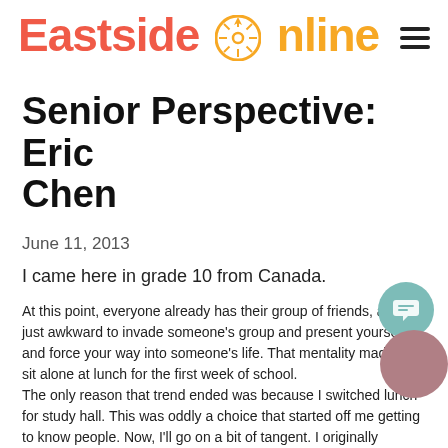Eastside Online
Senior Perspective: Eric Chen
June 11, 2013
I came here in grade 10 from Canada.
At this point, everyone already has their group of friends, and it's just awkward to invade someone's group and present yourself and force your way into someone's life. That mentality made my sit alone at lunch for the first week of school.
The only reason that trend ended was because I switched lunch for study hall. This was oddly a choice that started off me getting to know people. Now, I'll go on a bit of tangent. I originally wanted to take Actor's Studio in grade 10, but that wouldn't fit into my schedule, so I was forced to take